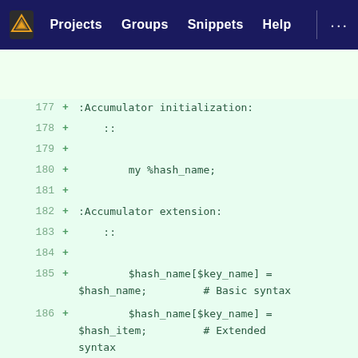Projects  Groups  Snippets  Help  ...
[Figure (screenshot): GitLab diff view showing lines 177-192 of a Perl code file with additions marked by + signs, including Accumulator initialization, extension, and retrieval sections with hash syntax examples]